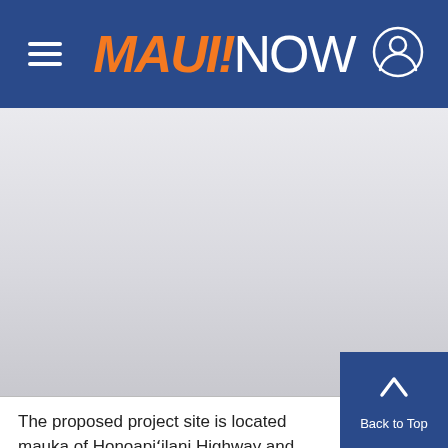MAUI NOW
[Figure (other): Advertisement or placeholder image area with light grey gradient background]
The proposed project site is located mauka of Honoapiʻilani Highway and adjacent to Kuʻikah